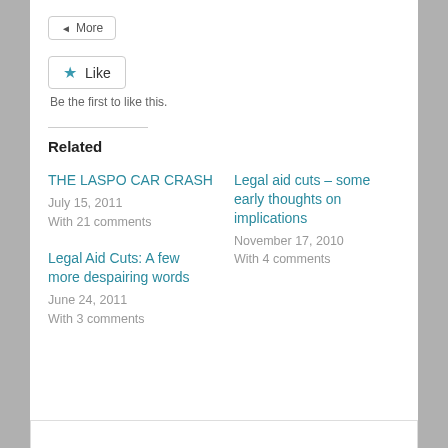[Figure (other): A 'More' button with left arrow icon, rounded border]
[Figure (other): A 'Like' button with blue star icon and rounded border]
Be the first to like this.
Related
THE LASPO CAR CRASH
July 15, 2011
With 21 comments
Legal aid cuts – some early thoughts on implications
November 17, 2010
With 4 comments
Legal Aid Cuts: A few more despairing words
June 24, 2011
With 3 comments